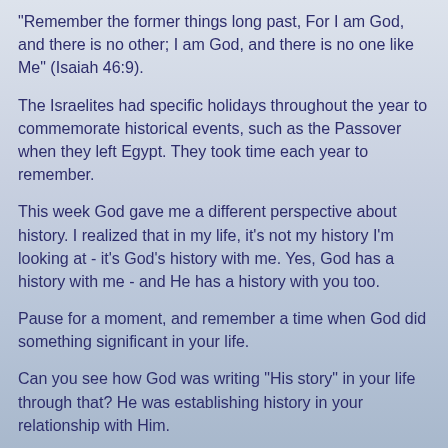"Remember the former things long past, For I am God, and there is no other; I am God, and there is no one like Me" (Isaiah 46:9).
The Israelites had specific holidays throughout the year to commemorate historical events, such as the Passover when they left Egypt. They took time each year to remember.
This week God gave me a different perspective about history. I realized that in my life, it's not my history I'm looking at - it's God's history with me. Yes, God has a history with me - and He has a history with you too.
Pause for a moment, and remember a time when God did something significant in your life.
Can you see how God was writing "His story" in your life through that? He was establishing history in your relationship with Him.
When I took just a few minutes to remember, I was amazed